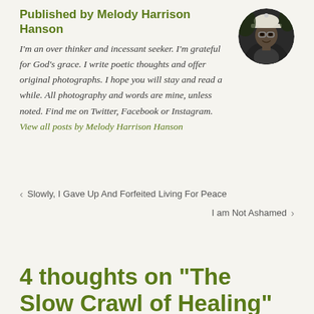Published by Melody Harrison Hanson
[Figure (photo): Circular portrait photo of Melody Harrison Hanson wearing a white cap, black and white photo]
I'm an over thinker and incessant seeker. I'm grateful for God's grace. I write poetic thoughts and offer original photographs. I hope you will stay and read a while. All photography and words are mine, unless noted. Find me on Twitter, Facebook or Instagram. View all posts by Melody Harrison Hanson
< Slowly, I Gave Up And Forfeited Living For Peace
I am Not Ashamed >
4 thoughts on “The Slow Crawl of Healing”